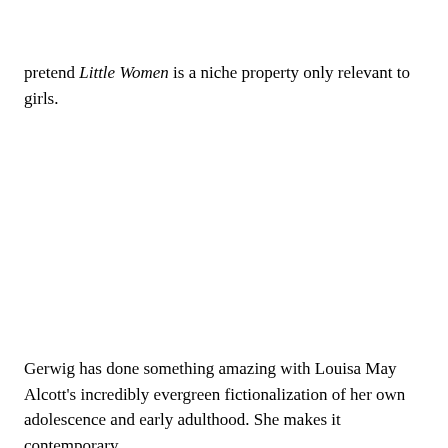pretend Little Women is a niche property only relevant to girls.
Gerwig has done something amazing with Louisa May Alcott's incredibly evergreen fictionalization of her own adolescence and early adulthood. She makes it contemporary